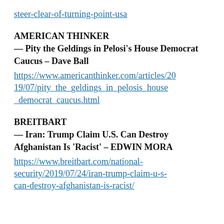steer-clear-of-turning-point-usa
AMERICAN THINKER
— Pity the Geldings in Pelosi's House Democrat Caucus – Dave Ball
https://www.americanthinker.com/articles/2019/07/pity_the_geldings_in_pelosis_house_democrat_caucus.html
BREITBART
— Iran: Trump Claim U.S. Can Destroy Afghanistan Is 'Racist' – EDWIN MORA
https://www.breitbart.com/national-security/2019/07/24/iran-trump-claim-u-s-can-destroy-afghanistan-is-racist/